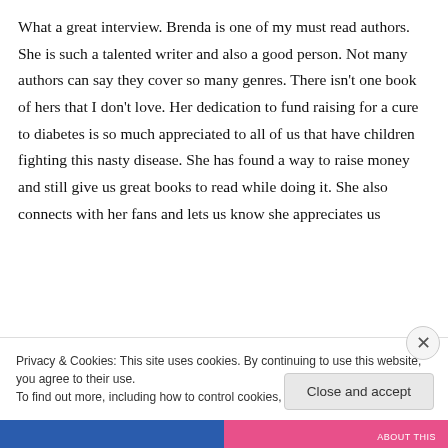What a great interview. Brenda is one of my must read authors. She is such a talented writer and also a good person. Not many authors can say they cover so many genres. There isn't one book of hers that I don't love. Her dedication to fund raising for a cure to diabetes is so much appreciated to all of us that have children fighting this nasty disease. She has found a way to raise money and still give us great books to read while doing it. She also connects with her fans and lets us know she appreciates us
Privacy & Cookies: This site uses cookies. By continuing to use this website, you agree to their use.
To find out more, including how to control cookies, see here: Cookie Policy